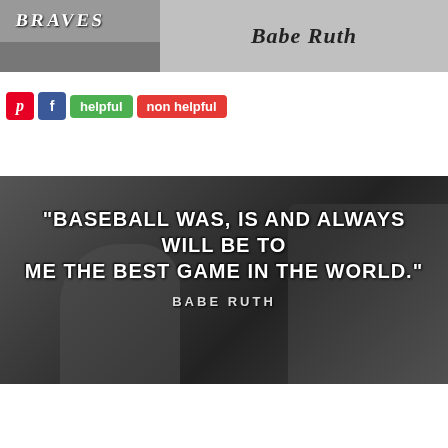[Figure (photo): Black and white photo of Babe Ruth in Braves jersey with name label on gray background]
[Figure (photo): Black and white baseball action photo with overlaid quote: 'Baseball was, is and always will be to me the best game in the world.' - Babe Ruth. Social sharing buttons (Pinterest, Facebook, helpful, non helpful) overlaid at top.]
[Figure (infographic): Advertisement banner: 37 Home And Kitchen Items Everyone Should Own, with colorful stacked containers image and badge showing 22]
[Figure (photo): Black and white photo with bold text: 'I SWING WITH EVERYTHING I'VE GOT...' (text cut off at bottom)]